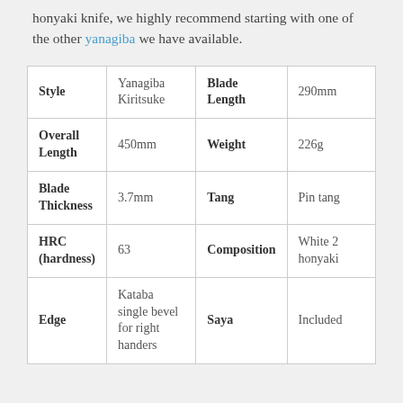honyaki knife, we highly recommend starting with one of the other yanagiba we have available.
| Style | Yanagiba Kiritsuke | Blade Length | 290mm |
| Overall Length | 450mm | Weight | 226g |
| Blade Thickness | 3.7mm | Tang | Pin tang |
| HRC (hardness) | 63 | Composition | White 2 honyaki |
| Edge | Kataba single bevel for right handers | Saya | Included |